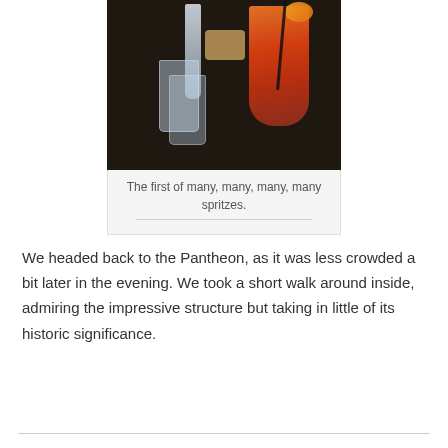[Figure (photo): Photo of cocktail drinks on a dark table — a spritz with orange slice and straw, a champagne flute, and water glasses, with a basket of chips.]
The first of many, many, many, many spritzes.
We headed back to the Pantheon, as it was less crowded a bit later in the evening. We took a short walk around inside, admiring the impressive structure but taking in little of its historic significance.